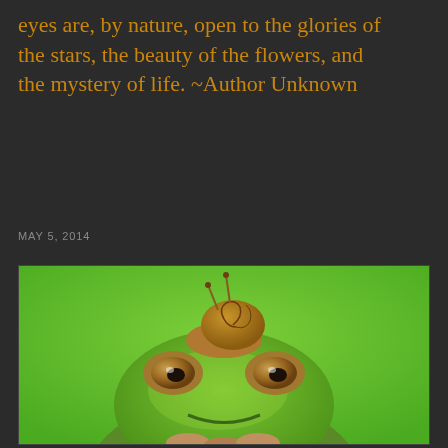eyes are, by nature, open to the glories of the stars, the beauty of the flowers, and the mystery of life. ~Author Unknown
MAY 5, 2014
[Figure (photo): A green tree frog with a small brown snail sitting on top of its head, against a bright green background. The frog faces the camera with wide eyes.]